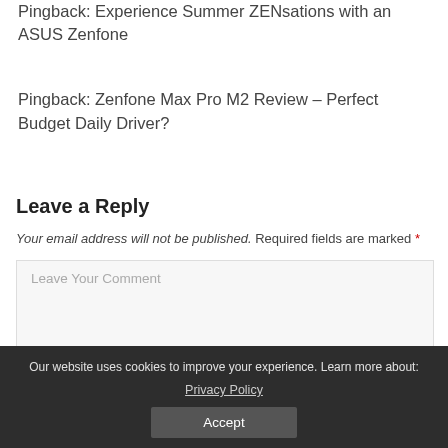Pingback: Experience Summer ZENsations with an ASUS Zenfone
Pingback: Zenfone Max Pro M2 Review – Perfect Budget Daily Driver?
Leave a Reply
Your email address will not be published. Required fields are marked *
Leave Your Comment
Our website uses cookies to improve your experience. Learn more about: Privacy Policy
Accept